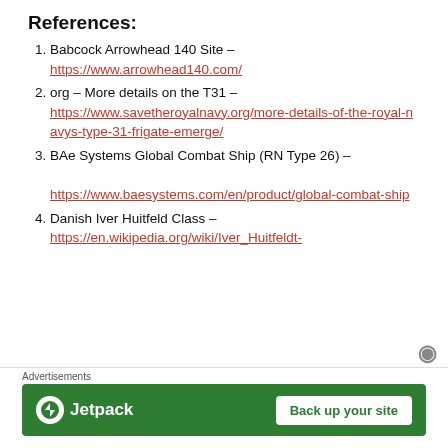References:
Babcock Arrowhead 140 Site – https://www.arrowhead140.com/
org – More details on the T31 – https://www.savetheroyalnavy.org/more-details-of-the-royal-navys-type-31-frigate-emerge/
BAe Systems Global Combat Ship (RN Type 26) – https://www.baesystems.com/en/product/global-combat-ship
Danish Iver Huitfeld Class – https://en.wikipedia.org/wiki/Iver_Huitfeldt-
Advertisements